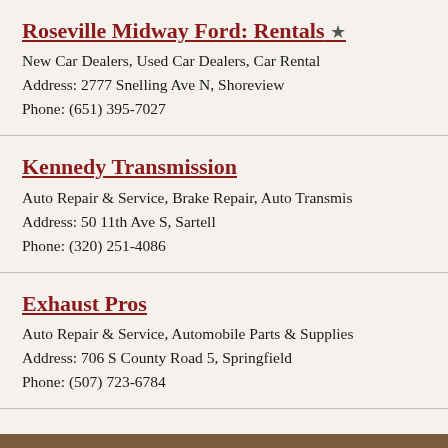Roseville Midway Ford: Rentals ★
New Car Dealers, Used Car Dealers, Car Rental
Address: 2777 Snelling Ave N, Shoreview
Phone: (651) 395-7027
Kennedy Transmission
Auto Repair & Service, Brake Repair, Auto Transmission...
Address: 50 11th Ave S, Sartell
Phone: (320) 251-4086
Exhaust Pros
Auto Repair & Service, Automobile Parts & Supplies...
Address: 706 S County Road 5, Springfield
Phone: (507) 723-6784